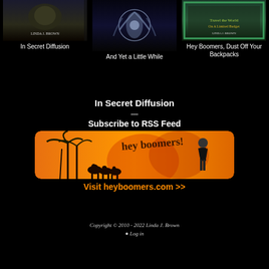[Figure (photo): Book cover for 'In Secret Diffusion' by Linda J. Brown - dark cover]
[Figure (photo): Book cover for 'And Yet a Little While' - dark blue/silver abstract cover]
[Figure (photo): Book cover for 'Hey Boomers, Dust Off Your Backpacks' by Linda J. Brown - green bordered cover]
In Secret Diffusion
And Yet a Little While
Hey Boomers, Dust Off Your Backpacks
In Secret Diffusion
—
Subscribe to RSS Feed
[Figure (illustration): hey boomers! banner image with orange background, palm trees, camels, and people]
Visit heyboomers.com >>
Copyright © 2010 - 2022 Linda J. Brown
Log in